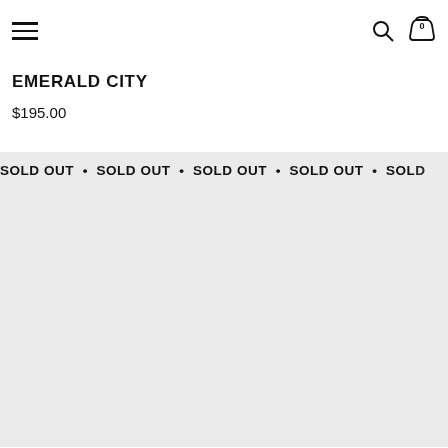Navigation header with hamburger menu, search icon, and cart (0)
EMERALD CITY
$195.00
SOLD OUT • SOLD OUT • SOLD OUT • SOLD OUT • SOLD OUT